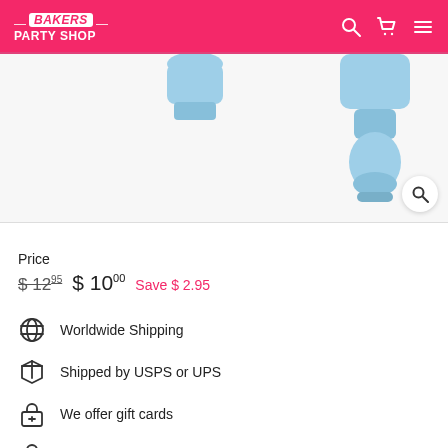Bakers Party Shop
[Figure (photo): Blue plastic baking/cake decorating clips or holders, product image on white background]
Price
$12.95  $10.00  Save $2.95
Worldwide Shipping
Shipped by USPS or UPS
We offer gift cards
Secure payments